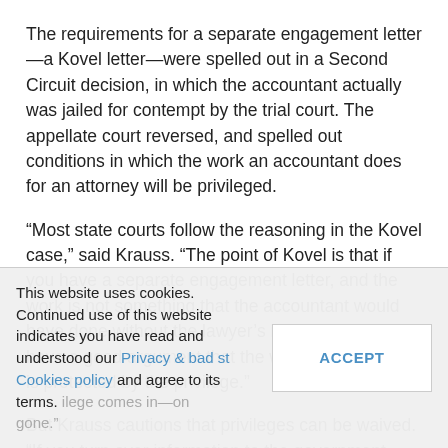The requirements for a separate engagement letter—a Kovel letter—were spelled out in a Second Circuit decision, in which the accountant actually was jailed for contempt by the trial court. The appellate court reversed, and spelled out conditions in which the work an accountant does for an attorney will be privileged.
“Most state courts follow the reasoning in the Kovel case,” said Krauss. “The point of Kovel is that if you have a separate engagement letter, and the work is not something that the accountant would have done without the lawyer’s involvement, you have a good argument that the work you’re doing is protected by the privilege.”
But Krauss cautions that privileges can be waived. “If you turn over information to the government, say the SEC or the IRS, the privilege doesn’t just go away vis a vis the government; it goes ...
This website uses cookies. Continued use of this website indicates you have read and understood our Privacy & Cookies policy and agree to its terms.